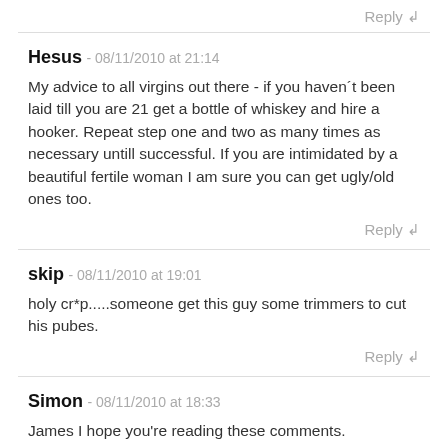Reply ↲
Hesus - 08/11/2010 at 21:14
My advice to all virgins out there - if you haven´t been laid till you are 21 get a bottle of whiskey and hire a hooker. Repeat step one and two as many times as necessary untill successful. If you are intimidated by a beautiful fertile woman I am sure you can get ugly/old ones too.
Reply ↲
skip - 08/11/2010 at 19:01
holy cr*p.....someone get this guy some trimmers to cut his pubes.
Reply ↲
Simon - 08/11/2010 at 18:33
James I hope you're reading these comments.